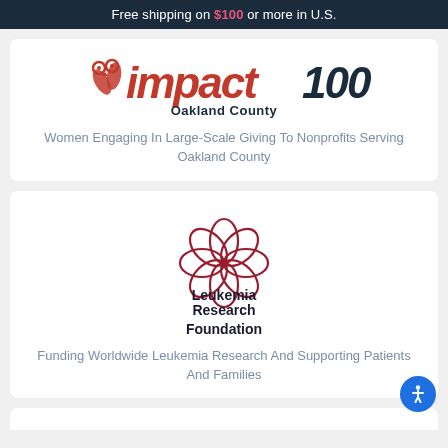Free shipping on $100 or more in U.S.
[Figure (logo): Impact100 Oakland County logo with decorative owl/leaf icons and large italic red text]
Women Engaging In Large-Scale Giving To Nonprofits Serving Oakland County
[Figure (logo): Leukemia Research Foundation logo: red interlocking circles ring above the text Leukemia Research Foundation]
Funding Worldwide Leukemia Research And Supporting Patients And Families